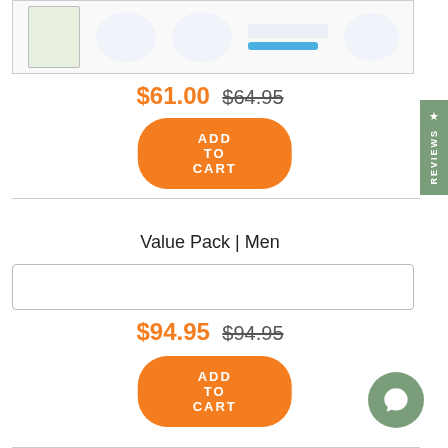[Figure (photo): Product image showing dental/health care items including a box and accessories with a blue tool]
$61.00  $64.95
ADD TO CART
Value Pack | Men
[Figure (photo): Product image placeholder box]
$94.95  $94.95
ADD TO CART